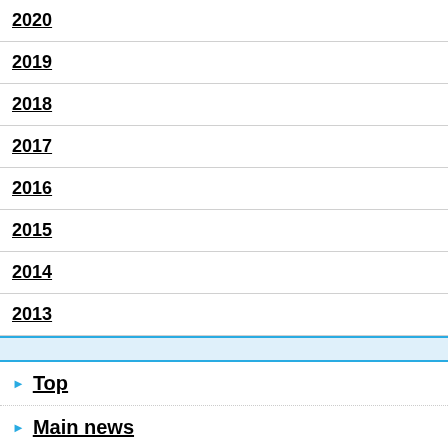2020
2019
2018
2017
2016
2015
2014
2013
▶ Top
▶ Main news
▶ Social News
▶ Political News